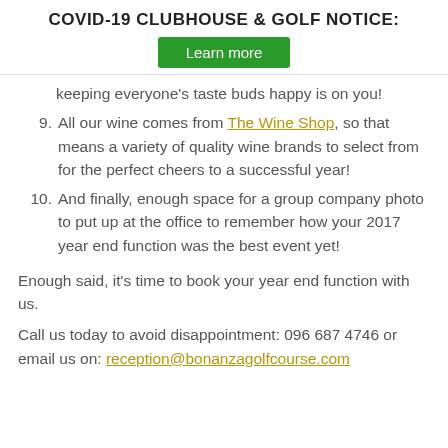COVID-19 CLUBHOUSE & GOLF NOTICE:
Learn more
keeping everyone's taste buds happy is on you!
9. All our wine comes from The Wine Shop, so that means a variety of quality wine brands to select from for the perfect cheers to a successful year!
10. And finally, enough space for a group company photo to put up at the office to remember how your 2017 year end function was the best event yet!
Enough said, it's time to book your year end function with us.
Call us today to avoid disappointment: 096 687 4746 or email us on: reception@bonanzagolfcourse.com